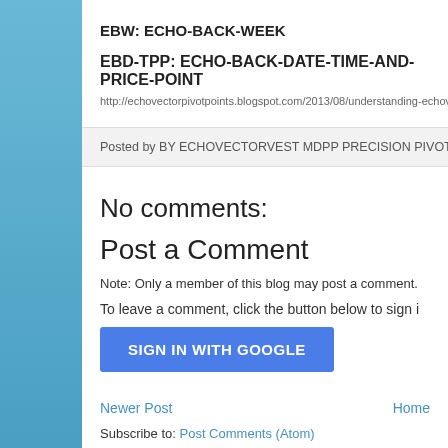EBW: ECHO-BACK-WEEK
EBD-TPP:  ECHO-BACK-DATE-TIME-AND-PRICE-POINT
http://echovectorpivotpoints.blogspot.com/2013/08/understanding-echovector-pivot-p
Posted by BY ECHOVECTORVEST MDPP PRECISION PIVOTS at 11:32 A
No comments:
Post a Comment
Note: Only a member of this blog may post a comment.
To leave a comment, click the button below to sign i
[Figure (other): SIGN IN WITH GOOGLE button (blue rectangular button)]
Newer Post | Home
Subscribe to: Post Comments (Atom)